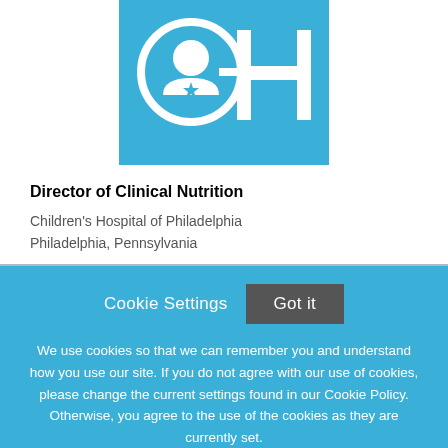[Figure (logo): Children's Hospital of Philadelphia logo — light blue square with white 'CH' stylized letters and child silhouette icon]
Director of Clinical Nutrition
Children's Hospital of Philadelphia
Philadelphia, Pennsylvania
Cookie Settings   Got it
We use cookies so that we can remember you and understand how you use our site. If you do not agree with our use of cookies, please change the current settings found in our Cookie Policy. Otherwise, you agree to the use of the cookies as they are currently set.